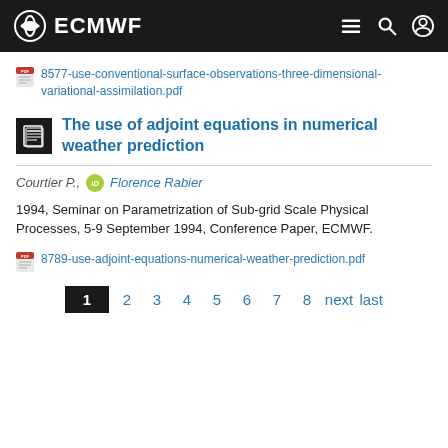ECMWF
8577-use-conventional-surface-observations-three-dimensional-variational-assimilation.pdf
The use of adjoint equations in numerical weather prediction
Courtier P., Florence Rabier
1994, Seminar on Parametrization of Sub-grid Scale Physical Processes, 5-9 September 1994, Conference Paper, ECMWF.
8789-use-adjoint-equations-numerical-weather-prediction.pdf
1 2 3 4 5 6 7 8 next last